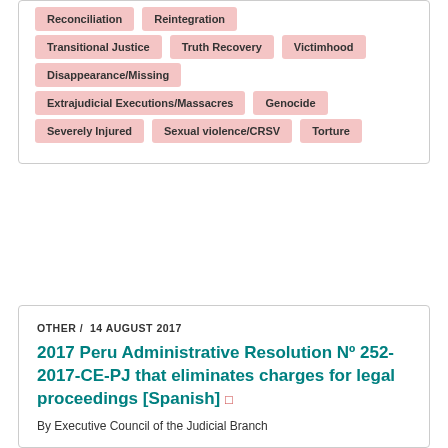Reconciliation
Reintegration
Transitional Justice
Truth Recovery
Victimhood
Disappearance/Missing
Extrajudicial Executions/Massacres
Genocide
Severely Injured
Sexual violence/CRSV
Torture
OTHER /  14 AUGUST 2017
2017 Peru Administrative Resolution Nº 252-2017-CE-PJ that eliminates charges for legal proceedings [Spanish]
By Executive Council of the Judicial Branch